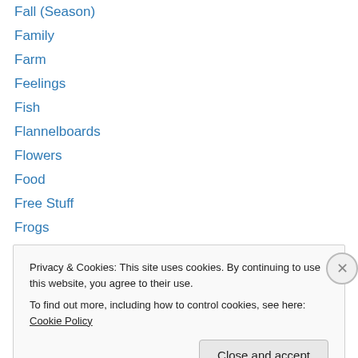Fall (Season)
Family
Farm
Feelings
Fish
Flannelboards
Flowers
Food
Free Stuff
Frogs
Games
Gardening
Grandparents
Privacy & Cookies: This site uses cookies. By continuing to use this website, you agree to their use. To find out more, including how to control cookies, see here: Cookie Policy
Close and accept